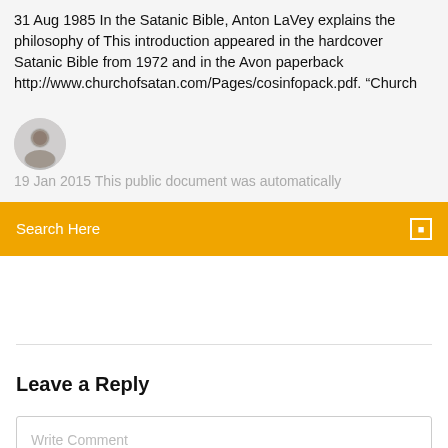31 Aug 1985 In the Satanic Bible, Anton LaVey explains the philosophy of This introduction appeared in the hardcover Satanic Bible from 1972 and in the Avon paperback http://www.churchofsatan.com/Pages/cosinfopack.pdf. “Church
[Figure (photo): Circular avatar photo of a man]
19 Jan 2015 This public document was automatically
Search Here
Leave a Reply
Write Comment